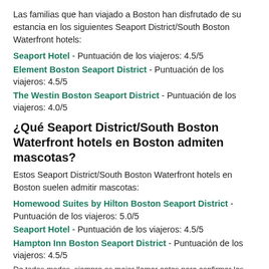Las familias que han viajado a Boston han disfrutado de su estancia en los siguientes Seaport District/South Boston Waterfront hotels:
Seaport Hotel - Puntuación de los viajeros: 4.5/5
Element Boston Seaport District - Puntuación de los viajeros: 4.5/5
The Westin Boston Seaport District - Puntuación de los viajeros: 4.0/5
¿Qué Seaport District/South Boston Waterfront hotels en Boston admiten mascotas?
Estos Seaport District/South Boston Waterfront hotels en Boston suelen admitir mascotas:
Homewood Suites by Hilton Boston Seaport District - Puntuación de los viajeros: 5.0/5
Seaport Hotel - Puntuación de los viajeros: 4.5/5
Hampton Inn Boston Seaport District - Puntuación de los viajeros: 4.5/5
De todos modos, siempre es mejor llamar antes para confirmar las políticas específicas sobre mascotas antes de la estancia.
¿Hay Seaport District/South Boston Waterfront hotels en Boston que ofrezcan desayuno gratuito?